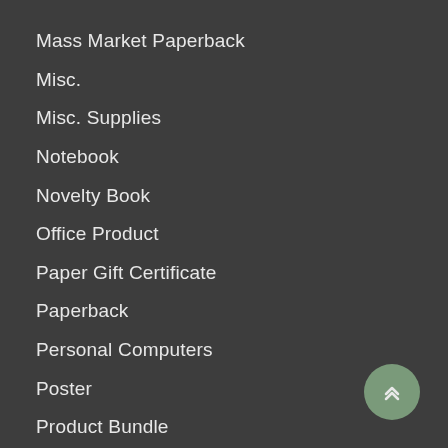Mass Market Paperback
Misc.
Misc. Supplies
Notebook
Novelty Book
Office Product
Paper Gift Certificate
Paperback
Personal Computers
Poster
Product Bundle
Reviews